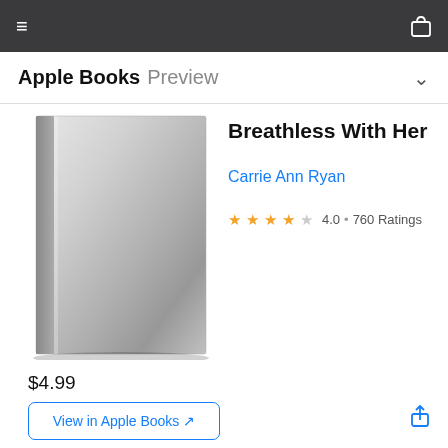Apple Books Preview
Breathless With Her
Carrie Ann Ryan
4.0 • 760 Ratings
[Figure (illustration): Gray book cover placeholder with gradient shading, resembling a closed book]
$4.99
View in Apple Books ↗